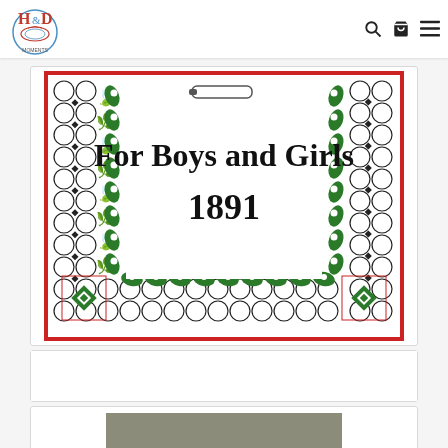[Figure (logo): H&D Moments logo with stylized text H, D and decorative emblem]
[Figure (illustration): Book cover with decorative border featuring green paisley and red lattice patterns, text reads 'For Boys and Girls 1891']
[Figure (other): Empty white card / placeholder]
[Figure (other): Card with partial gray book cover image visible]